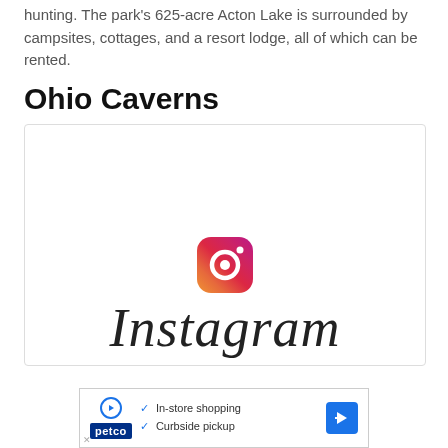hunting. The park's 625-acre Acton Lake is surrounded by campsites, cottages, and a resort lodge, all of which can be rented.
Ohio Caverns
[Figure (logo): Instagram logo with icon and wordmark inside a bordered box]
[Figure (infographic): Petco advertisement banner showing In-store shopping and Curbside pickup options with navigation arrow icon]